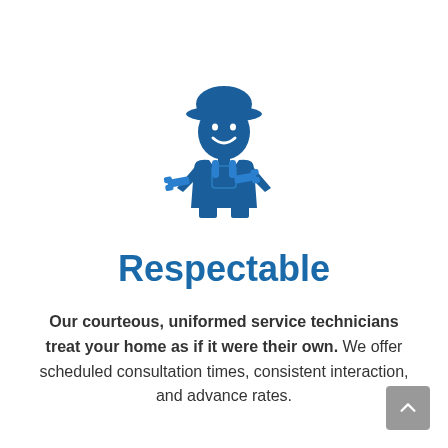[Figure (illustration): A dark blue icon of a smiling uniformed service technician or mechanic wearing a cap and holding a wrench, depicted in a simplified flat icon style.]
Respectable
Our courteous, uniformed service technicians treat your home as if it were their own. We offer scheduled consultation times, consistent interaction, and advance rates.